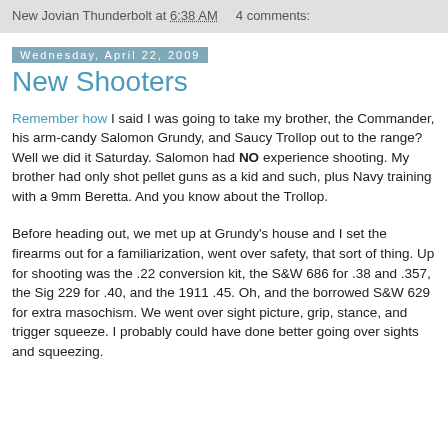New Jovian Thunderbolt at 6:38 AM    4 comments:
Wednesday, April 22, 2009
New Shooters
Remember how I said I was going to take my brother, the Commander, his arm-candy Salomon Grundy, and Saucy Trollop out to the range? Well we did it Saturday. Salomon had NO experience shooting. My brother had only shot pellet guns as a kid and such, plus Navy training with a 9mm Beretta. And you know about the Trollop.
Before heading out, we met up at Grundy's house and I set the firearms out for a familiarization, went over safety, that sort of thing. Up for shooting was the .22 conversion kit, the S&W 686 for .38 and .357, the Sig 229 for .40, and the 1911 .45. Oh, and the borrowed S&W 629 for extra masochism. We went over sight picture, grip, stance, and trigger squeeze. I probably could have done better going over sights and squeezing.